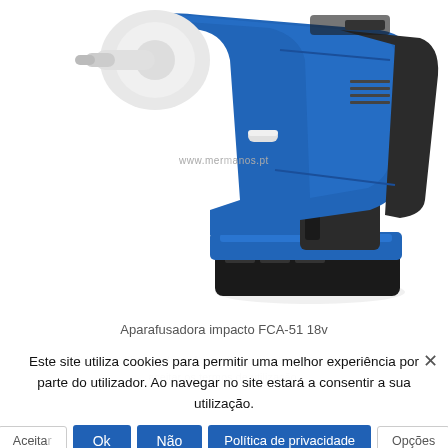[Figure (photo): Cordless impact wrench/driver in blue and black with white chuck, 18V battery, product photo on white background. Watermark text 'www.mermanos.pt' visible in center.]
Aparafusadora impacto FCA-51 18v
Este site utiliza cookies para permitir uma melhor experiência por parte do utilizador. Ao navegar no site estará a consentir a sua utilização.
Aceitar os termos de utilização.
Ok    Não    Política de privacidade    Opções